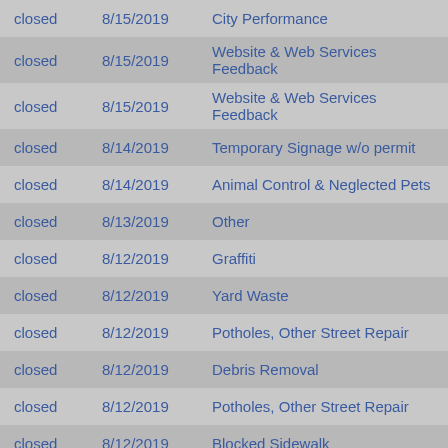| Status | Date | Category |
| --- | --- | --- |
| closed | 8/15/2019 | City Performance |
| closed | 8/15/2019 | Website & Web Services Feedback |
| closed | 8/15/2019 | Website & Web Services Feedback |
| closed | 8/14/2019 | Temporary Signage w/o permit |
| closed | 8/14/2019 | Animal Control & Neglected Pets |
| closed | 8/13/2019 | Other |
| closed | 8/12/2019 | Graffiti |
| closed | 8/12/2019 | Yard Waste |
| closed | 8/12/2019 | Potholes, Other Street Repair |
| closed | 8/12/2019 | Debris Removal |
| closed | 8/12/2019 | Potholes, Other Street Repair |
| closed | 8/12/2019 | Blocked Sidewalk |